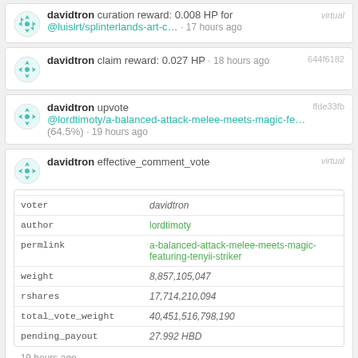davidtron curation reward: 0.008 HP for @luislrt/splinterlands-art-c… · 17 hours ago
davidtron claim reward: 0.027 HP · 18 hours ago [644f6182]
davidtron upvote @lordtimoty/a-balanced-attack-melee-meets-magic-fe… (64.5%) · 19 hours ago [ffde33fb]
| field | value |
| --- | --- |
| voter | davidtron |
| author | lordtimoty |
| permlink | a-balanced-attack-melee-meets-magic-featuring-tenyii-striker |
| weight | 8,857,105,047 |
| rshares | 17,714,210,094 |
| total_vote_weight | 40,451,516,798,190 |
| pending_payout | 27.992 HBD |
davidtron effective_comment_vote · 19 hours ago [virtual]
davidtron curation reward: 0.010 HP for @atlantiss/pixelart-aganju · 19 hours ago [virtual]
davidtron upvote [e7f348c0]